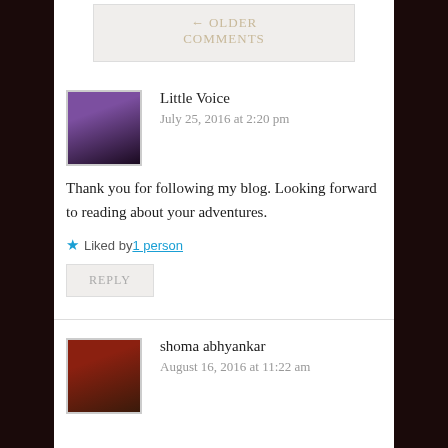← OLDER COMMENTS
Little Voice
July 25, 2016 at 2:20 pm
Thank you for following my blog. Looking forward to reading about your adventures.
Liked by 1 person
REPLY
shoma abhyankar
August 16, 2016 at 11:22 am